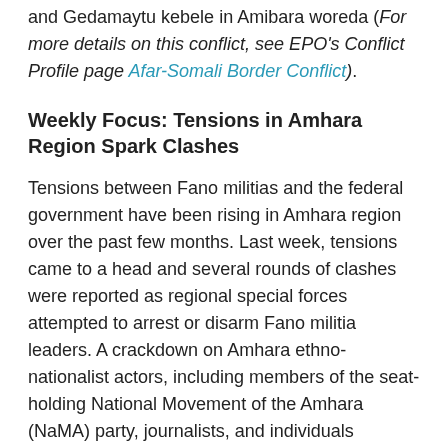and Gedamaytu kebele in Amibara woreda (For more details on this conflict, see EPO's Conflict Profile page Afar-Somali Border Conflict).
Weekly Focus: Tensions in Amhara Region Spark Clashes
Tensions between Fano militias and the federal government have been rising in Amhara region over the past few months. Last week, tensions came to a head and several rounds of clashes were reported as regional special forces attempted to arrest or disarm Fano militia leaders. A crackdown on Amhara ethno-nationalist actors, including members of the seat-holding National Movement of the Amhara (NaMA) party, journalists, and individuals throughout Amhara region signifies a new low in the relationship between Amhara ethno-nationalists and the Amhara Prosperity Party.
Ethno-nationalist organizations in Amhara region,